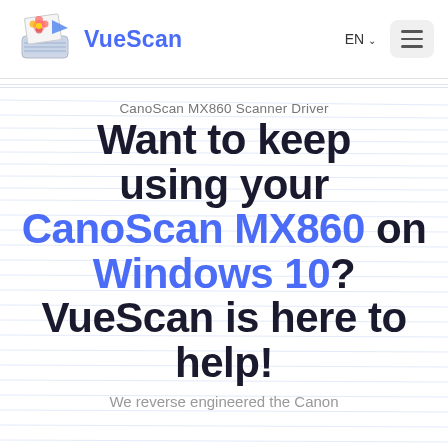VueScan — EN — [menu]
CanoScan MX860 Scanner Driver
Want to keep using your CanoScan MX860 on Windows 10? VueScan is here to help!
We reverse engineered the Canon